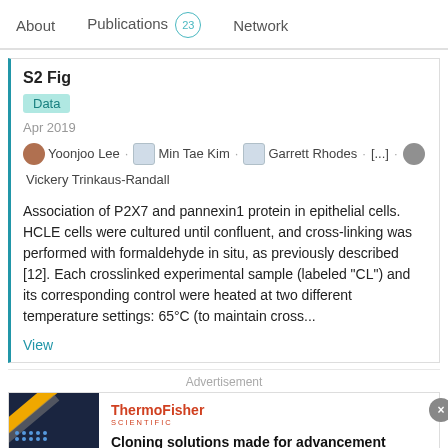About   Publications 23   Network
S2 Fig
Data
Apr 2019
Yoonjoo Lee · Min Tae Kim · Garrett Rhodes · [...] · Vickery Trinkaus-Randall
Association of P2X7 and pannexin1 protein in epithelial cells. HCLE cells were cultured until confluent, and cross-linking was performed with formaldehyde in situ, as previously described [12]. Each crosslinked experimental sample (labeled "CL") and its corresponding control were heated at two different temperature settings: 65°C (to maintain cross...
View
Advertisement
Cloning solutions made for advancement